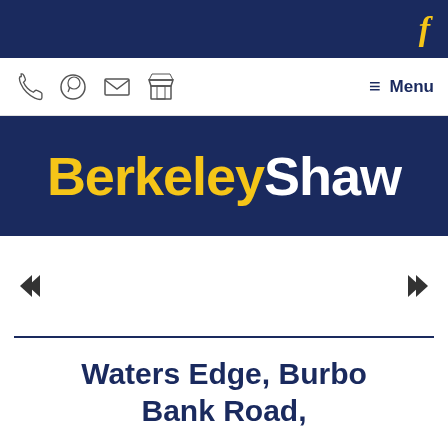f (Facebook icon)
[Figure (screenshot): Navigation bar with phone, WhatsApp, email, and store icons on the left; hamburger menu and Menu text on the right]
[Figure (logo): BerkeleyShaw logo on dark navy background — Berkeley in yellow, Shaw in white]
[Figure (illustration): Image carousel area with left and right arrow navigation buttons]
Waters Edge, Burbo Bank Road,